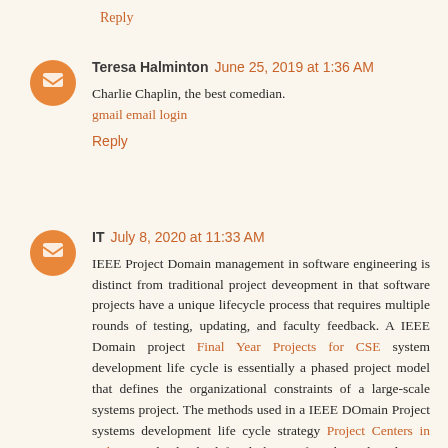Reply
Teresa Halminton  June 25, 2019 at 1:36 AM
Charlie Chaplin, the best comedian.
gmail email login
Reply
IT  July 8, 2020 at 11:33 AM
IEEE Project Domain management in software engineering is distinct from traditional project deveopment in that software projects have a unique lifecycle process that requires multiple rounds of testing, updating, and faculty feedback. A IEEE Domain project Final Year Projects for CSE system development life cycle is essentially a phased project model that defines the organizational constraints of a large-scale systems project. The methods used in a IEEE DOmain Project systems development life cycle strategy Project Centers in India provide clearly defined phases of work to plan, design, test, deploy, and maintain information systems.